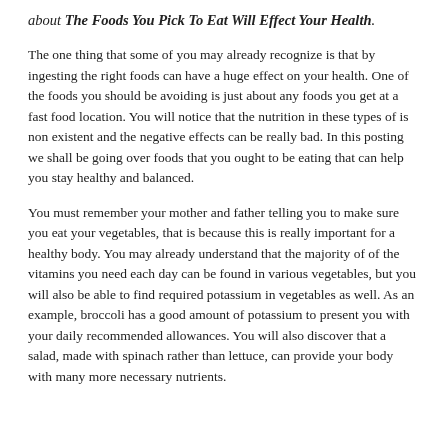about The Foods You Pick To Eat Will Effect Your Health.
The one thing that some of you may already recognize is that by ingesting the right foods can have a huge effect on your health. One of the foods you should be avoiding is just about any foods you get at a fast food location. You will notice that the nutrition in these types of is non existent and the negative effects can be really bad. In this posting we shall be going over foods that you ought to be eating that can help you stay healthy and balanced.
You must remember your mother and father telling you to make sure you eat your vegetables, that is because this is really important for a healthy body. You may already understand that the majority of of the vitamins you need each day can be found in various vegetables, but you will also be able to find required potassium in vegetables as well. As an example, broccoli has a good amount of potassium to present you with your daily recommended allowances. You will also discover that a salad, made with spinach rather than lettuce, can provide your body with many more necessary nutrients.